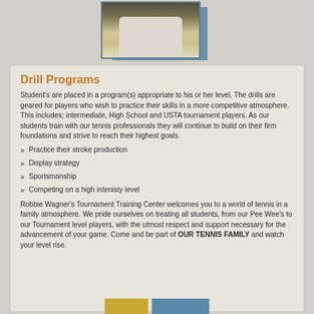[Figure (photo): Tennis player photo at top center, showing white shirt/outfit against dark background]
Drill Programs
Student's are placed in a program(s) appropriate to his or her level.  The drills are geared for players who wish to practice their skills in a more competitive atmosphere.  This includes; intermediate, High School and USTA tournament players. As our students train with our tennis professionals they will continue to build on their firm foundations and strive to reach their highest goals.
Practice their stroke production
Display strategy
Sportsmanship
Competing on a high intenisty level
Robbie Wagner's Tournament Training Center welcomes you to a world of tennis in a family atmosphere. We pride ourselves on treating all students, from our Pee Wee's to our Tournament level players, with the utmost respect and support necessary for the advancement of your game. Come and be part of OUR TENNIS FAMILY and watch your level rise.
[Figure (photo): Small thumbnail images at bottom center, gold and blue colored]